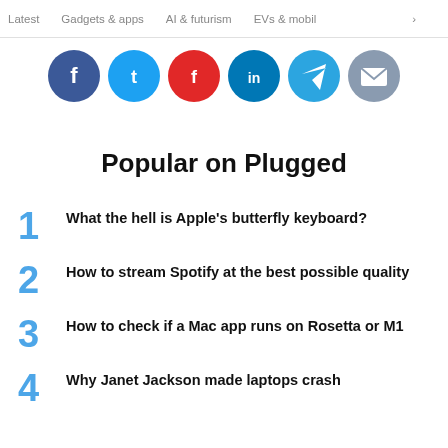Latest   Gadgets & apps   AI & futurism   EVs & mobil
[Figure (illustration): Row of social media share icons: Facebook (blue), Twitter (blue), Flipboard (red), LinkedIn (blue), Telegram (blue), Email (grey)]
Popular on Plugged
1  What the hell is Apple's butterfly keyboard?
2  How to stream Spotify at the best possible quality
3  How to check if a Mac app runs on Rosetta or M1
4  Why Janet Jackson made laptops crash